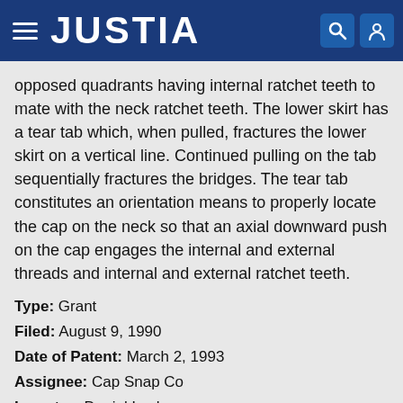JUSTIA
opposed quadrants having internal ratchet teeth to mate with the neck ratchet teeth. The lower skirt has a tear tab which, when pulled, fractures the lower skirt on a vertical line. Continued pulling on the tab sequentially fractures the bridges. The tear tab constitutes an orientation means to properly locate the cap on the neck so that an axial downward push on the cap engages the internal and external threads and internal and external ratchet teeth.
Type: Grant
Filed: August 9, 1990
Date of Patent: March 2, 1993
Assignee: Cap Snap Co
Inventor: Daniel Luch
Spill-proof closure